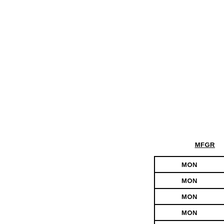MFGR
| MON |
| MON |
| MON |
| MON |
| MON |
| MON |
| MON |